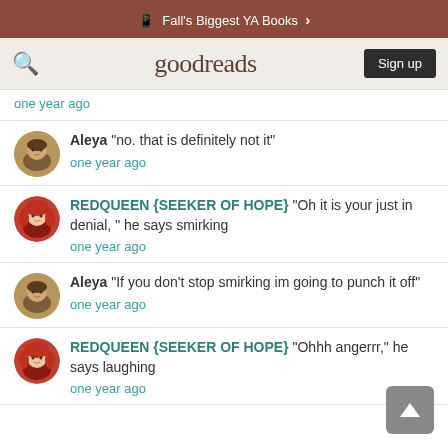Fall's Biggest YA Books >
goodreads  Sign up
one year ago
Aleya "no. that is definitely not it"
one year ago
REDQUEEN {SEEKER OF HOPE} "Oh it is your just in denial, " he says smirking
one year ago
Aleya "If you don't stop smirking im going to punch it off"
one year ago
REDQUEEN {SEEKER OF HOPE} "Ohhh angerrr," he says laughing
one year ago